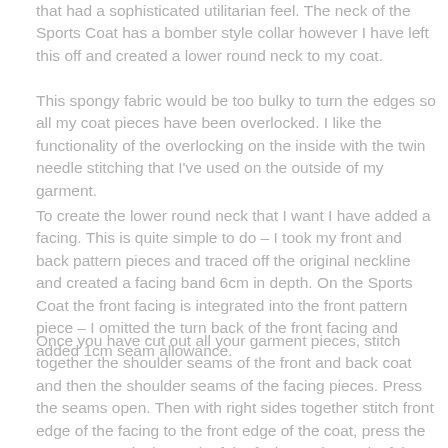that had a sophisticated utilitarian feel. The neck of the Sports Coat has a bomber style collar however I have left this off and created a lower round neck to my coat.
This spongy fabric would be too bulky to turn the edges so all my coat pieces have been overlocked. I like the functionality of the overlocking on the inside with the twin needle stitching that I've used on the outside of my garment.
To create the lower round neck that I want I have added a facing. This is quite simple to do – I took my front and back pattern pieces and traced off the original neckline and created a facing band 6cm in depth. On the Sports Coat the front facing is integrated into the front pattern piece – I omitted the turn back of the front facing and added 1cm seam allowance.
Once you have cut out all your garment pieces, stitch together the shoulder seams of the front and back coat and then the shoulder seams of the facing pieces. Press the seams open. Then with right sides together stitch front edge of the facing to the front edge of the coat, press the seam open. Pin the neck of the facing to the neck of the coat. Start by matching the shoulde